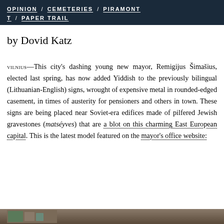OPINION / CEMETERIES / PIRAMONT / PAPER TRAIL
by Dovid Katz
VILNIUS—This city's dashing young new mayor, Remigijus Šimašius, elected last spring, has now added Yiddish to the previously bilingual (Lithuanian-English) signs, wrought of expensive metal in rounded-edged casement, in times of austerity for pensioners and others in town. These signs are being placed near Soviet-era edifices made of pilfered Jewish gravestones (matséyves) that are a blot on this charming East European capital. This is the latest model featured on the mayor's office website:
[Figure (photo): Partial view of a photograph at the bottom of the page, showing an outdoor scene]